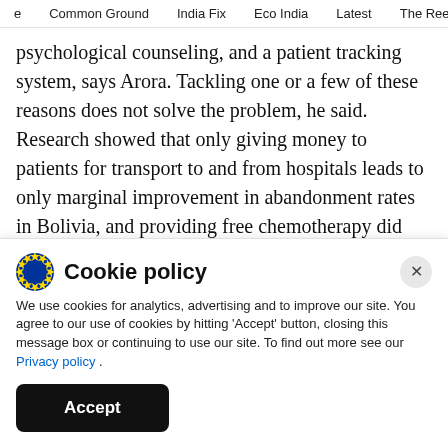e   Common Ground   India Fix   Eco India   Latest   The Reel
psychological counseling, and a patient tracking system, says Arora. Tackling one or a few of these reasons does not solve the problem, he said. Research showed that only giving money to patients for transport to and from hospitals leads to only marginal improvement in abandonment rates in Bolivia, and providing free chemotherapy did not prevent abandonment in Indonesia.
Cookie policy
We use cookies for analytics, advertising and to improve our site. You agree to our use of cookies by hitting 'Accept' button, closing this message box or continuing to use our site. To find out more see our Privacy policy .
Accept